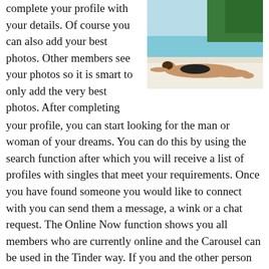complete your profile with your details. Of course you can also add your best photos. Other members see your photos so it is smart to only add the very best photos. After completing your profile, you can start looking for the man or woman of your dreams. You can do this by using the search function after which you will receive a list of profiles with singles that meet your requirements. Once you have found someone you would like to connect with you can send them a message, a wink or a chat request. The Online Now function shows you all members who are currently online and the Carousel can be used in the Tinder way. If you and the other person like each other then there is a match. However, you can only view this after paying with Zoosk coins. Zoosk uses intelligent technology. This is called Behavioral Matchmaking™. This technology learns from how daters interact
[Figure (photo): Woman in black swimsuit lying on a white sandy beach with turquoise water and trees in the background]